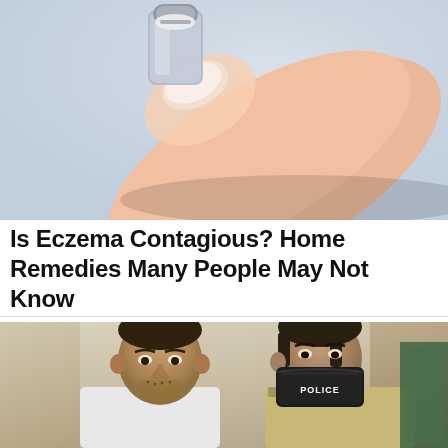[Figure (photo): Close-up photo of a hand holding a small glass medicine vial or nail polish bottle, with a light blue/grey background]
Is Eczema Contagious? Home Remedies Many People May Not Know
Eczema Cream | Sponsored
[Figure (photo): Photo of two men, one in a white shirt appearing to be a detainee and another in a khaki police uniform wearing a black face mask with POLICE written on it]